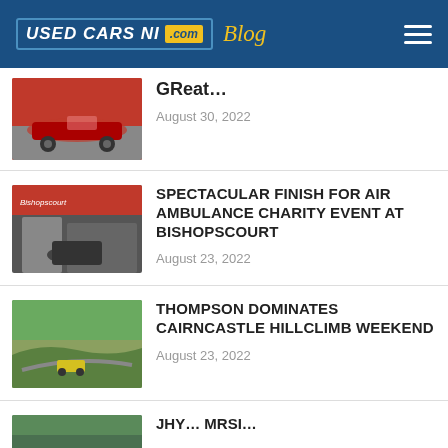USED CARS NI .com Blog
GReat…
August 30, 2022
SPECTACULAR FINISH FOR AIR AMBULANCE CHARITY EVENT AT BISHOPSCOURT
August 23, 2022
THOMPSON DOMINATES CAIRNCASTLE HILLCLIMB WEEKEND
August 23, 2022